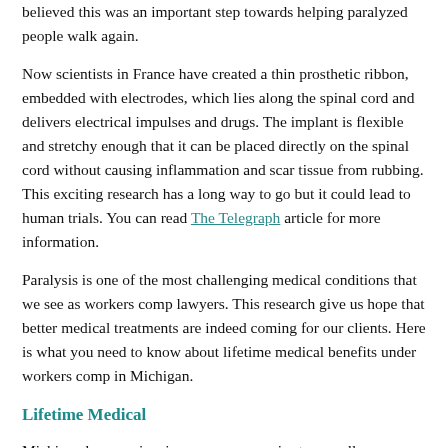believed this was an important step towards helping paralyzed people walk again.
Now scientists in France have created a thin prosthetic ribbon, embedded with electrodes, which lies along the spinal cord and delivers electrical impulses and drugs. The implant is flexible and stretchy enough that it can be placed directly on the spinal cord without causing inflammation and scar tissue from rubbing. This exciting research has a long way to go but it could lead to human trials. You can read The Telegraph article for more information.
Paralysis is one of the most challenging medical conditions that we see as workers comp lawyers. This research give us hope that better medical treatments are indeed coming for our clients. Here is what you need to know about lifetime medical benefits under workers comp in Michigan.
Lifetime Medical
Michigan law requires insurance companies to pay all reasonable and necessary medical treatment under workers compensation. This is a lifetime benefit and continues even if a person returns to work. Unfortunately, many of our clients struggle just to get simple medical procedures approved.